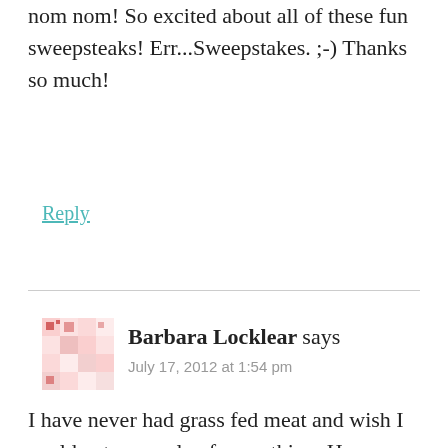nom nom! So excited about all of these fun sweepsteaks! Err...Sweepstakes. ;-) Thanks so much!
Reply
Barbara Locklear says
July 17, 2012 at 1:54 pm
I have never had grass fed meat and wish I could get a sample of everything. However if I only had $100 I think my top picks would be the petite top sirloin, Bison tenderloin filet,